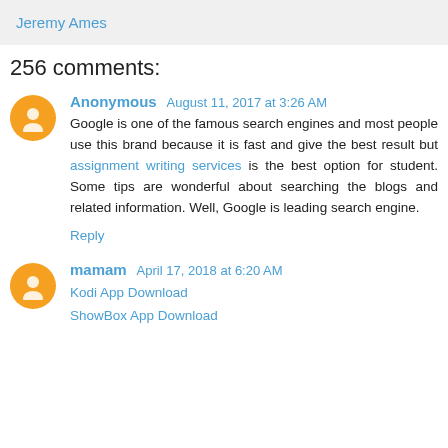Jeremy Ames
256 comments:
Anonymous  August 11, 2017 at 3:26 AM
Google is one of the famous search engines and most people use this brand because it is fast and give the best result but assignment writing services is the best option for student. Some tips are wonderful about searching the blogs and related information. Well, Google is leading search engine.
Reply
mamam  April 17, 2018 at 6:20 AM
Kodi App Download
ShowBox App Download